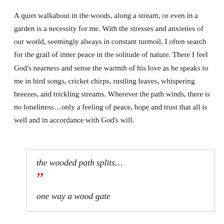A quiet walkabout in the woods, along a stream, or even in a garden is a necessity for me. With the stresses and anxieties of our world, seemingly always in constant turmoil, I often search for the grail of inner peace in the solitude of nature. There I feel God's nearness and sense the warmth of his love as he speaks to me in bird songs, cricket chirps, rustling leaves, whispering breezes, and trickling streams. Wherever the path winds, there is no loneliness…only a feeling of peace, hope and trust that all is well and in accordance with God's will.
the wooded path splits… ” one way a wood gate